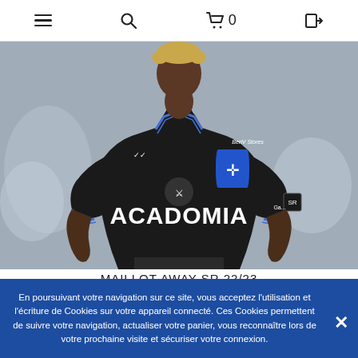≡  🔍  🛒 0  ➜
[Figure (photo): A young Black man wearing a black Auxerre SR 22/23 away football jersey with blue trim, ACADOMIA sponsor text, Macron logo, and club crest on a mottled grey background.]
MAILLOT AWAY SR 22/23
En poursuivant votre navigation sur ce site, vous acceptez l'utilisation et l'écriture de Cookies sur votre appareil connecté. Ces Cookies permettent de suivre votre navigation, actualiser votre panier, vous reconnaître lors de votre prochaine visite et sécuriser votre connexion.